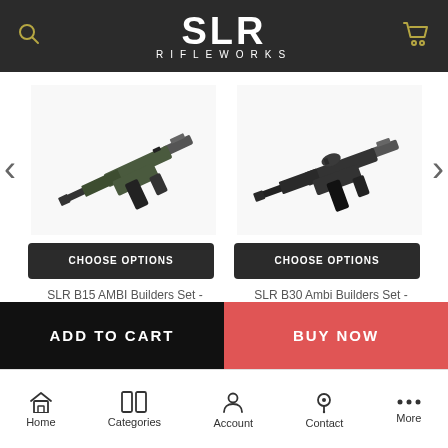SLR RIFLEWORKS
[Figure (photo): SLR B15 AMBI Builders Set Cerakote rifle product photo on white background]
[Figure (photo): SLR B30 Ambi Builders Set Cerakote rifle product photo on white background]
CHOOSE OPTIONS
CHOOSE OPTIONS
SLR B15 AMBI Builders Set - Cerakote
SLR B30 Ambi Builders Set - Cerakote
$829.99
$913.99
ADD TO CART
BUY NOW
Home  Categories  Account  Contact  More